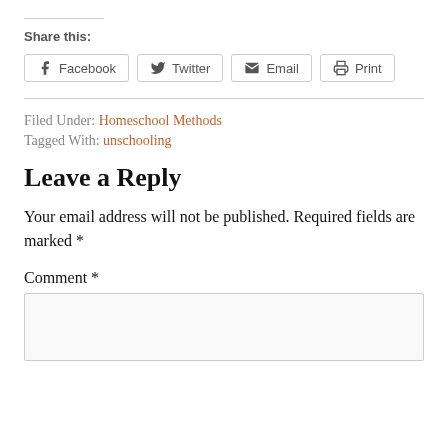Share this:
Facebook  Twitter  Email  Print
Filed Under: Homeschool Methods
Tagged With: unschooling
Leave a Reply
Your email address will not be published. Required fields are marked *
Comment *